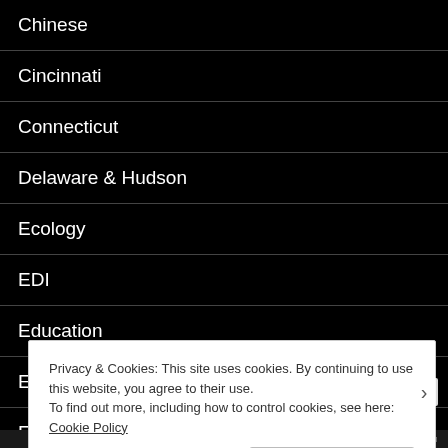Chinese
Cincinnati
Connecticut
Delaware & Hudson
Ecology
EDI
Education
Electronic Commerce
Employment
Privacy & Cookies: This site uses cookies. By continuing to use this website, you agree to their use.
To find out more, including how to control cookies, see here: Cookie Policy
Close and accept